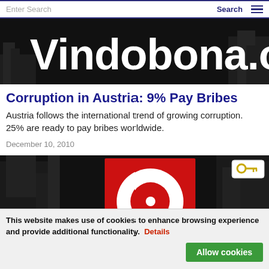Enter Search | Search
[Figure (logo): Vindobona.org website logo banner — white bold text 'Vindobona.org' on black background with a partial cityscape/industrial background image]
Corruption in Austria: 9% Pay Bribes
Austria follows the international trend of growing corruption. 25% are ready to pay bribes worldwide.
December 10, 2010
[Figure (photo): Black and white industrial/machinery background image with a centered red square containing a white circle ring and a red circle in the middle — resembling a target or logo. A small key icon is in the top right corner.]
This website makes use of cookies to enhance browsing experience and provide additional functionality.  Details
Allow cookies